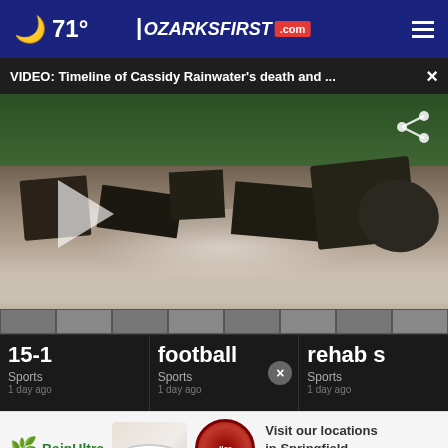71° OZARKSFIRST.com
VIDEO: Timeline of Cassidy Rainwater's death and ...
[Figure (photo): Burned structure debris and rubble with trees in background, ash and destroyed items scattered across the ground. A play button is visible on the left side and a share icon on the upper right.]
15-1
Sports
football
Sports
rehab s
Sports
[Figure (photo): BainUltra advertisement showing a bathtub and a circular red badge logo. Text reads: Visit our locations in Springfield and Joplin!]